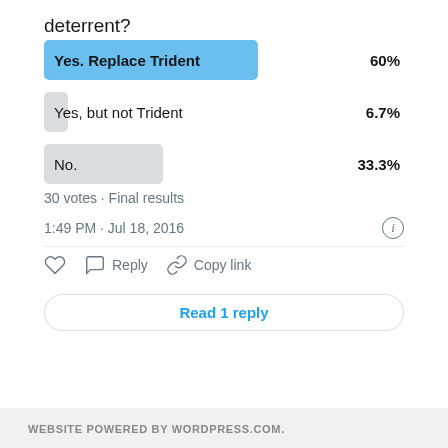deterrent?
[Figure (bar-chart): Poll results]
30 votes · Final results
1:49 PM · Jul 18, 2016
Reply   Copy link
Read 1 reply
WEBSITE POWERED BY WORDPRESS.COM.